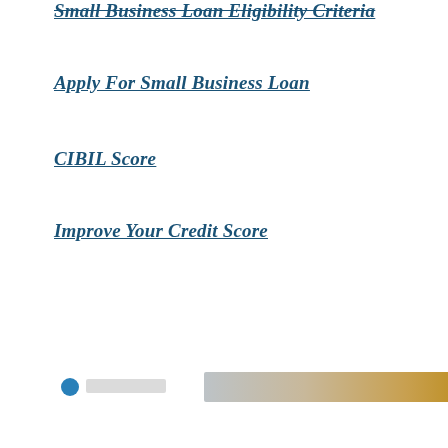Small Business Loan Eligibility Criteria
Apply For Small Business Loan
CIBIL Score
Improve Your Credit Score
[Figure (photo): Partially visible image at the bottom of the page showing a blurred banner or photo strip with gradient colors from gray to orange/gold]